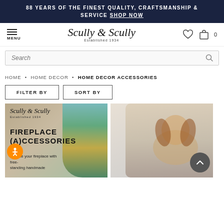88 YEARS OF THE FINEST QUALITY, CRAFTSMANSHIP & SERVICE SHOP NOW
[Figure (logo): Scully & Scully logo with 'Established 1934' tagline and navigation icons (menu, heart, cart)]
Search
HOME • HOME DECOR • HOME DECOR ACCESSORIES
FILTER BY
SORT BY
[Figure (photo): Scully & Scully branded image showing Fireplace Accessories category with peacock feather design, text: FIREPLACE ACCESSORIES - Elevate your fireplace with free-standing handmade]
[Figure (photo): Photo of a Cavalier King Charles Spaniel dog figurine sitting on decorative item]